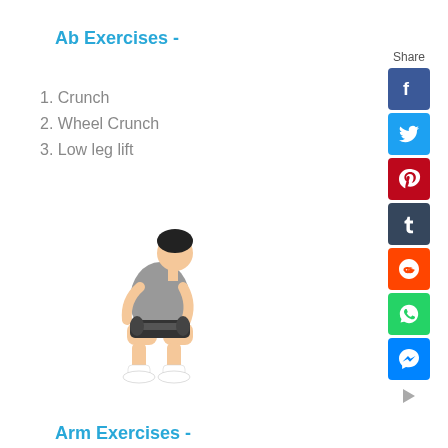Ab Exercises -
1. Crunch
2. Wheel Crunch
3. Low leg lift
[Figure (illustration): Illustration of a person seated, holding a dumbbell with both hands, bent forward in a wrist curl exercise position. The person wears a gray tank top, dark shorts, and white socks.]
Arm Exercises -